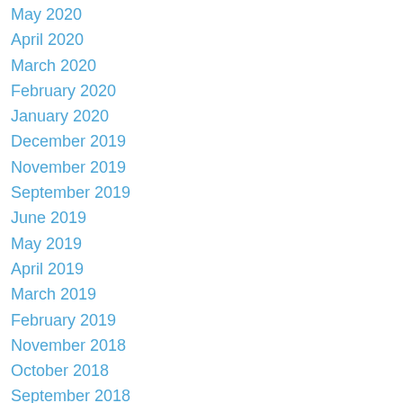May 2020
April 2020
March 2020
February 2020
January 2020
December 2019
November 2019
September 2019
June 2019
May 2019
April 2019
March 2019
February 2019
November 2018
October 2018
September 2018
August 2018
July 2018
June 2018
May 2018
April 2018